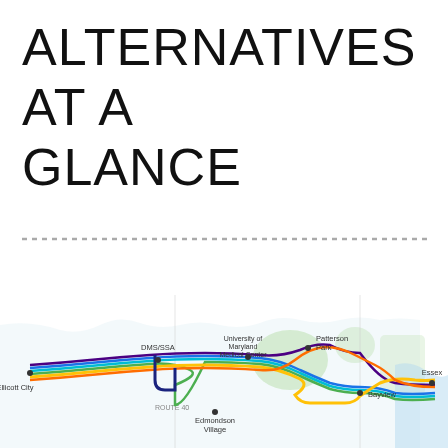ALTERNATIVES AT A GLANCE
[Figure (map): Transit route map showing multiple colored alternative routes running east-west from Ellicott City through DMS/SSA, University of Maryland Medical Center, Edmondson Village, Patterson Park, Bayview, to Essex. Routes shown in blue, green, yellow, orange, purple, and other colors.]